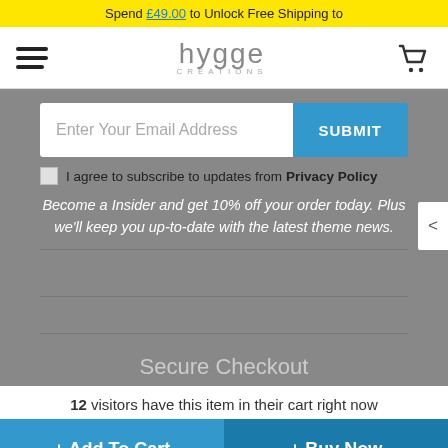Spend £49.00 to Unlock Free Shipping to
[Figure (screenshot): Hygge Creations logo with hamburger menu and cart icon navigation bar]
Enter Your Email Address
SUBMIT
I agree to subscribe to updates from Privacy Policy
Become a Insider and get 10% off your order today. Plus we'll keep you up-to-date with the latest theme news.
Secure Checkout
12 visitors have this item in their cart right now
+ Add To Cart
+ Buy Now